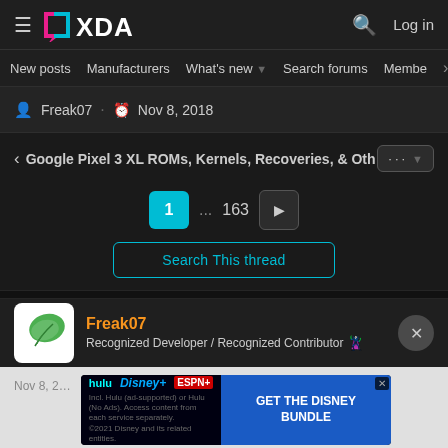XDA Forums – Log in
New posts  Manufacturers  What's new  Search forums  Members
Freak07 · Nov 8, 2018
< Google Pixel 3 XL ROMs, Kernels, Recoveries, & Oth  [···▼]
1 ... 163 ▶
Search This thread
Freak07
Recognized Developer / Recognized Contributor 🪁
[Figure (infographic): Disney Bundle advertisement banner: hulu Disney+ ESPN+ GET THE DISNEY BUNDLE. Incl. Hulu (ad-supported) or Hulu (No Ads). Access content from each service separately. ©2021 Disney and its related entities.]